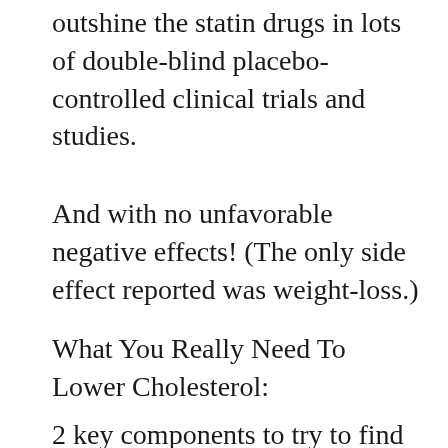outshine the statin drugs in lots of double-blind placebo-controlled clinical trials and studies.
And with no unfavorable negative effects! (The only side effect reported was weight-loss.)
What You Really Need To Lower Cholesterol:
2 key components to try to find in any natural